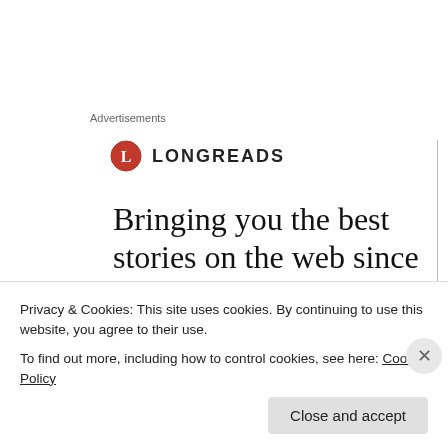Advertisements
[Figure (logo): Longreads logo: red circle with white L, followed by LONGREADS in bold caps]
Bringing you the best stories on the web since 2009
Jeremy Poynton on April 21, 2012 at 5:33 am
Privacy & Cookies: This site uses cookies. By continuing to use this website, you agree to their use.
To find out more, including how to control cookies, see here: Cookie Policy
Close and accept